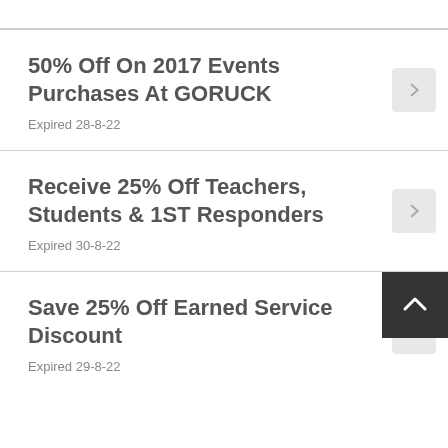50% Off On 2017 Events Purchases At GORUCK
Expired 28-8-22
Receive 25% Off Teachers, Students & 1ST Responders
Expired 30-8-22
Save 25% Off Earned Service Discount
Expired 29-8-22